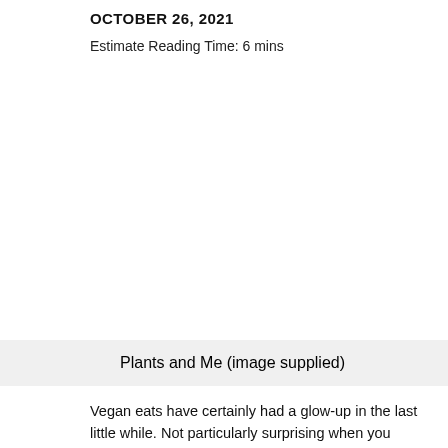OCTOBER 26, 2021
Estimate Reading Time: 6 mins
[Figure (photo): Large image area (image not shown) - Plants and Me photo]
Plants and Me (image supplied)
Vegan eats have certainly had a glow-up in the last little while. Not particularly surprising when you consider the number of hard-working venues serving up epic plant...